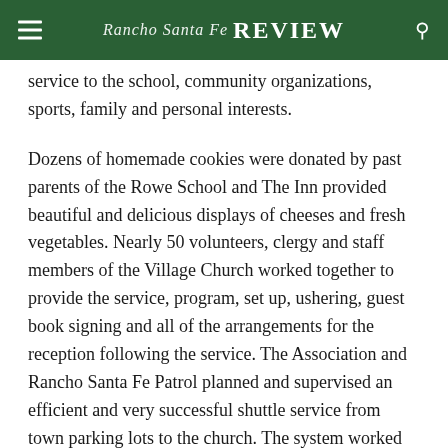Rancho Santa Fe Review
service to the school, community organizations, sports, family and personal interests.
Dozens of homemade cookies were donated by past parents of the Rowe School and The Inn provided beautiful and delicious displays of cheeses and fresh vegetables. Nearly 50 volunteers, clergy and staff members of the Village Church worked together to provide the service, program, set up, ushering, guest book signing and all of the arrangements for the reception following the service. The Association and Rancho Santa Fe Patrol planned and supervised an efficient and very successful shuttle service from town parking lots to the church. The system worked